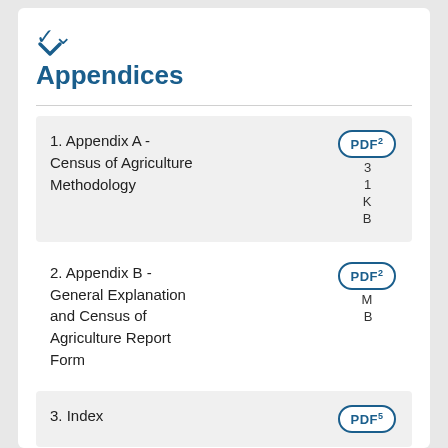[Figure (other): Chevron/down arrow icon in teal/dark blue]
Appendices
1. Appendix A - Census of Agriculture Methodology  PDF 31KB
2. Appendix B - General Explanation and Census of Agriculture Report Form  PDF 2MB
3. Index  PDF 5B